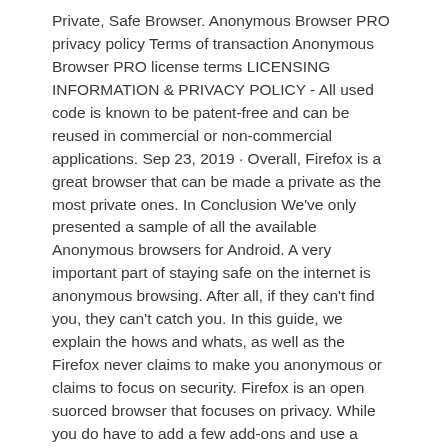Private, Safe Browser. Anonymous Browser PRO privacy policy Terms of transaction Anonymous Browser PRO license terms LICENSING INFORMATION & PRIVACY POLICY - All used code is known to be patent-free and can be reused in commercial or non-commercial applications. Sep 23, 2019 · Overall, Firefox is a great browser that can be made a private as the most private ones. In Conclusion We've only presented a sample of all the available Anonymous browsers for Android. A very important part of staying safe on the internet is anonymous browsing. After all, if they can't find you, they can't catch you. In this guide, we explain the hows and whats, as well as the Firefox never claims to make you anonymous or claims to focus on security. Firefox is an open suorced browser that focuses on privacy. While you do have to add a few add-ons and use a privacy based search engine, Firefox is perfectly fine for secu Jan 26, 2019 · Anonymous Browsers: Here is the of top 5 anonymous browsers that will protect your privacy and will not spy upon your search history. The reason that